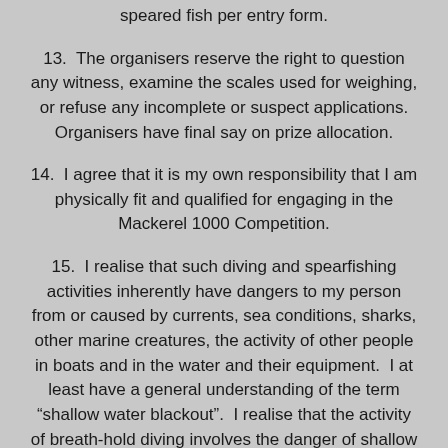speared fish per entry form.
13. The organisers reserve the right to question any witness, examine the scales used for weighing, or refuse any incomplete or suspect applications. Organisers have final say on prize allocation.
14. I agree that it is my own responsibility that I am physically fit and qualified for engaging in the Mackerel 1000 Competition.
15. I realise that such diving and spearfishing activities inherently have dangers to my person from or caused by currents, sea conditions, sharks, other marine creatures, the activity of other people in boats and in the water and their equipment. I at least have a general understanding of the term “shallow water blackout”. I realise that the activity of breath-hold diving involves the danger of shallow water blackout, if not conducted with